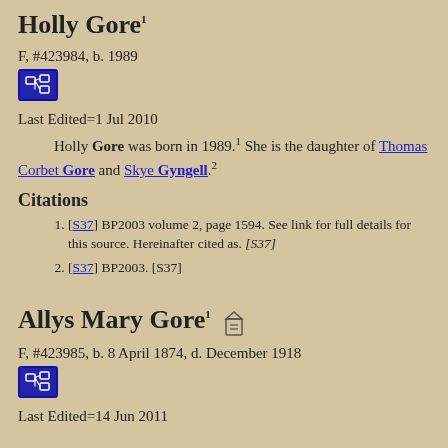Holly Gore¹
F, #423984, b. 1989
[Figure (other): Blue icon button with family tree/pedigree chart icon]
Last Edited=1 Jul 2010
Holly Gore was born in 1989.¹ She is the daughter of Thomas Corbet Gore and Skye Gyngell.²
Citations
[S37] BP2003 volume 2, page 1594. See link for full details for this source. Hereinafter cited as. [S37]
[S37] BP2003. [S37]
Allys Mary Gore¹
F, #423985, b. 8 April 1874, d. December 1918
[Figure (other): Blue icon button with family tree/pedigree chart icon]
Last Edited=14 Jun 2011